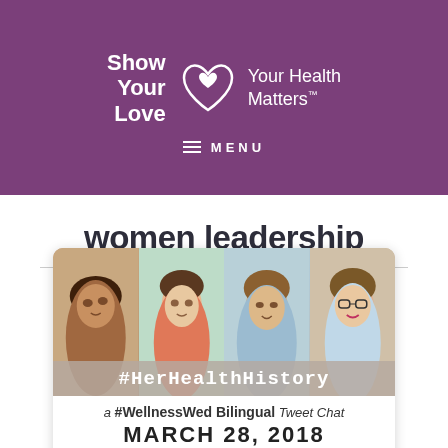[Figure (logo): Show Your Love Your Health Matters logo with heart icon on purple background header with MENU navigation]
women leadership
[Figure (infographic): Promotional banner for #HerHealthHistory, a #WellnessWed Bilingual Tweet Chat on MARCH 28, 2018 at 3 PM ET, featuring photos of diverse women and Twitter bird icon]